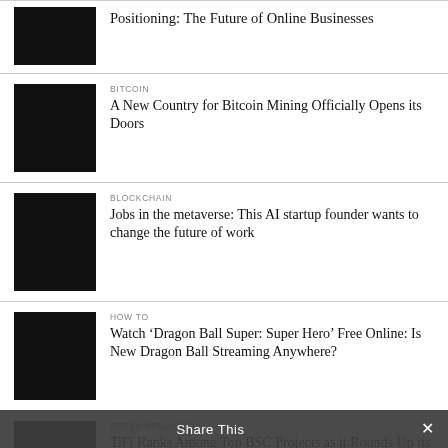[Figure (photo): Black thumbnail image for first article (partially visible)]
Positioning: The Future of Online Businesses
[Figure (photo): Black thumbnail image for Bitcoin article]
BITCOIN
A New Country for Bitcoin Mining Officially Opens its Doors
[Figure (photo): Black thumbnail image for Blockchain article]
BLOCKCHAIN
Jobs in the metaverse: This AI startup founder wants to change the future of work
[Figure (photo): Black thumbnail image for How To article]
HOW TO
Watch ‘Dragon Ball Super: Super Hero’ Free Online: Is New Dragon Ball Streaming Anywhere?
[Figure (photo): Black thumbnail image for Press Release article (partially visible)]
PRESS RELEASE
TiFi Ranks Among Top BSC Projects as it Rounds Up its 3rd Quarter
Share This